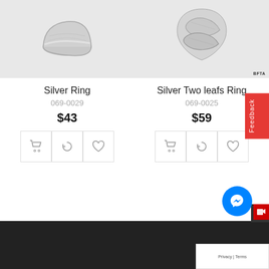[Figure (photo): Silver ring product photo on light grey background]
Silver Ring
069-0029
$43
[Figure (photo): Silver two leafs ring product photo on light grey background with BFTA watermark]
Silver Two leafs Ring
069-0025
$59
[Figure (other): Feedback tab on right side, red background]
Privacy | Terms